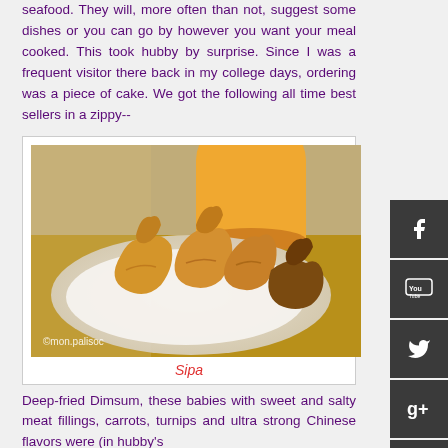seafood. They will, more often than not, suggest some dishes or you can go by however you want your meal cooked. This took hubby by surprise. Since I was a frequent visitor there back in my college days, ordering was a piece of cake. We got the following all time best sellers in a zippy--
[Figure (photo): Photo of deep-fried dimsum (Sipa) - golden brown fried food pieces on a white plate with paper liner, watermark reads ©mon.palisoc]
Sipa
Deep-fried Dimsum, these babies with sweet and salty meat fillings, carrots, turnips and ultra strong Chinese flavors were (in hubby's